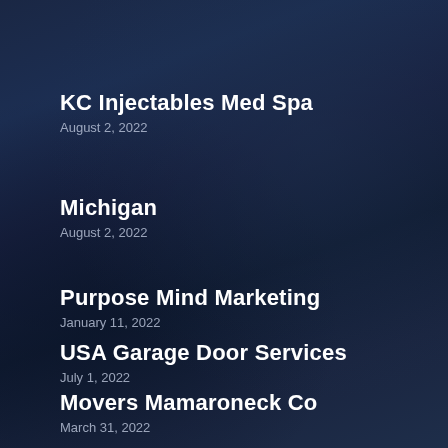KC Injectables Med Spa
August 2, 2022
Michigan
August 2, 2022
Purpose Mind Marketing
January 11, 2022
USA Garage Door Services
July 1, 2022
Movers Mamaroneck Co
March 31, 2022